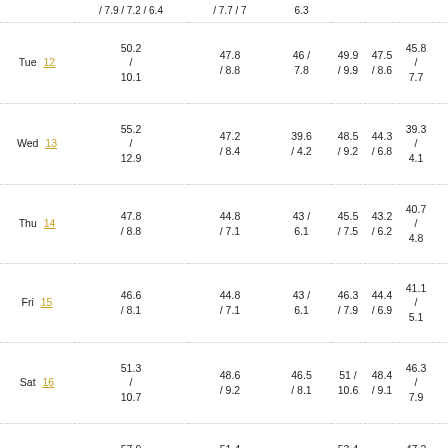| Day | Date | Col1 | Col2 | Col3 | Col4 | Col5 | Col6 | Col7 | Col8 | Col9 | Col10 |
| --- | --- | --- | --- | --- | --- | --- | --- | --- | --- | --- | --- |
|  |  | / 7.9 / 7.2 / 6.4 | / 7.7 / 7 | 6.3 |  | 10. |
| Tue | 12 | 50.2 / 10.1 | 47.8 / 8.8 | 46 / 7.8 | 49.9 / 9.9 | 47.5 / 8.6 | 45.8 / 7.7 | 99 | 98.8 | 98 | 30. 10. |
| Wed | 13 | 55.2 / 12.9 | 47.2 / 8.4 | 39.6 / 4.2 | 48.5 / 9.2 | 44.3 / 6.8 | 39.3 / 4.1 | 99 | 90.2 | 74 | 30. 10. |
| Thu | 14 | 47.8 / 8.8 | 44.8 / 7.1 | 43 / 6.1 | 45.5 / 7.5 | 43.2 / 6.2 | 40.7 / 4.8 | 99 | 94 | 85 | 30. 10. |
| Fri | 15 | 46.6 / 8.1 | 44.8 / 7.1 | 43 / 6.1 | 46.3 / 7.9 | 44.4 / 6.9 | 41.1 / 5.1 | 99 | 98.3 | 93 | 30. 10. |
| Sat | 16 | 51.3 / 10.7 | 48.6 / 9.2 | 46.5 / 8.1 | 51 / 10.6 | 48.4 / 9.1 | 46.3 / 7.9 | 99 | 99 | 99 | 30. 10. |
| Sun | 17 | 57.9 / 14.4 | 51.4 / 10.8 | 47.5 / 8.6 | 53.4 / 11.9 | 50 / 10 | 47.2 / 8.4 | 99 | 95.1 | 83 | 30. 10. |
| Mon | 18 | 61.7 / 16.5 | 52.8 / 11.6 | 42.6 / 5.9 | 55.3 / 12.9 | 49.9 / 9.9 | 41.6 / 5.3 | 99 | 90.5 | 75 | 30. 10. |